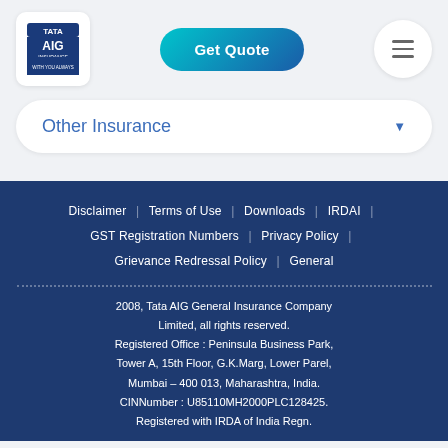[Figure (logo): Tata AIG Insurance logo with text 'WITH YOU ALWAYS']
Get Quote
[Figure (other): Hamburger menu icon (three horizontal lines)]
Other Insurance
Disclaimer | Terms of Use | Downloads | IRDAI | GST Registration Numbers | Privacy Policy | Grievance Redressal Policy | General
2008, Tata AIG General Insurance Company Limited, all rights reserved. Registered Office : Peninsula Business Park, Tower A, 15th Floor, G.K.Marg, Lower Parel, Mumbai – 400 013, Maharashtra, India. CINNumber : U85110MH2000PLC128425. Registered with IRDA of India Regn.